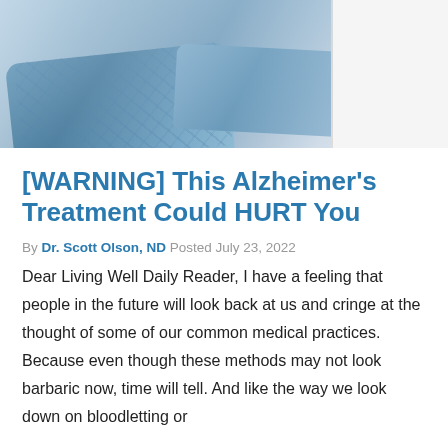[Figure (photo): Photograph of blue pillows on a bed with white panel/wall visible on the right side]
[WARNING] This Alzheimer's Treatment Could HURT You
By Dr. Scott Olson, ND Posted July 23, 2022
Dear Living Well Daily Reader, I have a feeling that people in the future will look back at us and cringe at the thought of some of our common medical practices. Because even though these methods may not look barbaric now, time will tell. And like the way we look down on bloodletting or